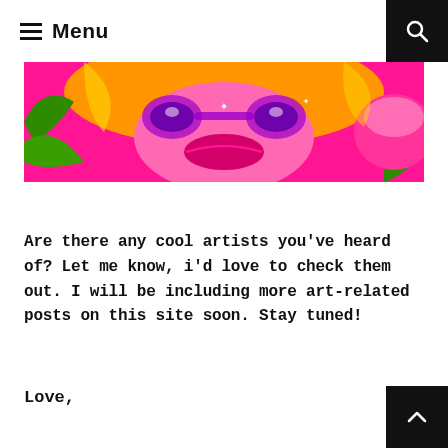≡ Menu
[Figure (photo): Colorful graffiti/street art painting with vibrant pink, orange, yellow and green colors, showing a stylized face with large lips and decorative patterns]
Are there any cool artists you've heard of? Let me know, i'd love to check them out. I will be including more art-related posts on this site soon. Stay tuned!
Love,